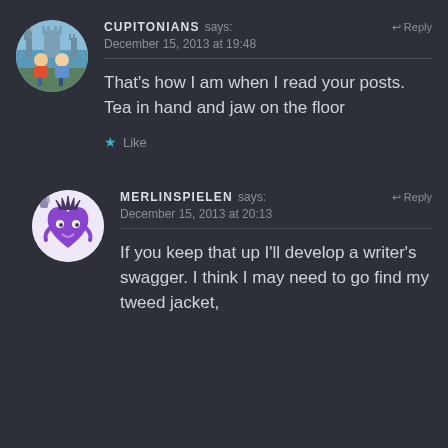[Figure (illustration): Circular avatar showing two cartoon figures sitting together against a blue background with a castle]
CUPITONIANS says: ↩ Reply
December 15, 2013 at 19:48
That's how I am when I read your posts. Tea in hand and jaw on the floor
★ Like
[Figure (illustration): Circular avatar showing a purple heart-shaped character with a face and arms on white background]
MERLINSPIELEN says: ↩ Reply
December 15, 2013 at 20:13
If you keep that up I'll develop a writer's swagger. I think I may need to go find my tweed jacket,